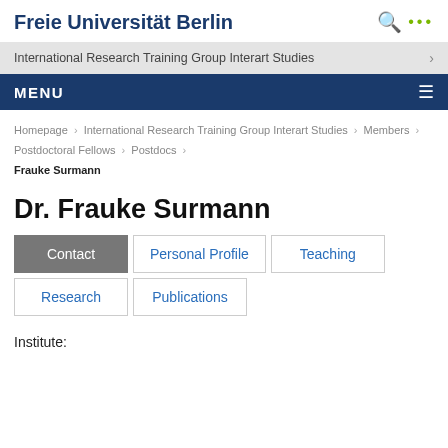Freie Universität Berlin
International Research Training Group Interart Studies
MENU
Homepage > International Research Training Group Interart Studies > Members > Postdoctoral Fellows > Postdocs > Frauke Surmann
Dr. Frauke Surmann
Contact | Personal Profile | Teaching | Research | Publications
Institute: